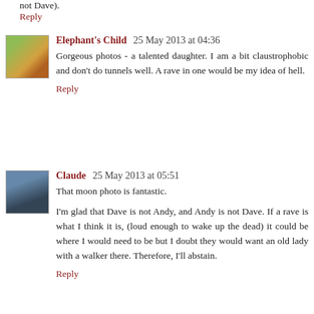not Dave).
Reply
Elephant's Child  25 May 2013 at 04:36
Gorgeous photos - a talented daughter. I am a bit claustrophobic and don't do tunnels well. A rave in one would be my idea of hell.
Reply
Claude  25 May 2013 at 05:51
That moon photo is fantastic.
I'm glad that Dave is not Andy, and Andy is not Dave. If a rave is what I think it is, (loud enough to wake up the dead) it could be where I would need to be but I doubt they would want an old lady with a walker there. Therefore, I'll abstain.
Reply